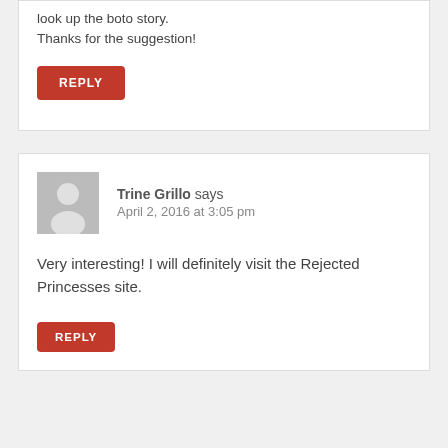look up the boto story. Thanks for the suggestion!
REPLY
Trine Grillo says
April 2, 2016 at 3:05 pm
Very interesting! I will definitely visit the Rejected Princesses site.
REPLY